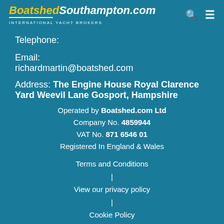BoatshedSouthampton.com INTERNATIONAL YACHT BROKERS
Telephone:
Email:
richardmartin@boatshed.com
Address: The Engine House Royal Clarence Yard Weevil Lane Gosport, Hampshire
Operated by Boatshed.com Ltd
Company No. 4859944
VAT No. 871 6546 01
Registered In England & Wales
Terms and Conditions
|
View our privacy policy
|
Cookie Policy
Each Boatshed Office is independently owned and operated and is